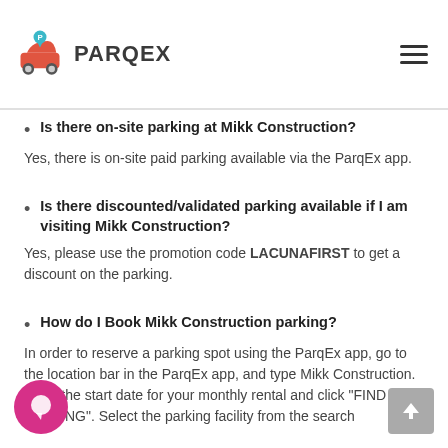PARQEX
Is there on-site parking at Mikk Construction?
Yes, there is on-site paid parking available via the ParqEx app.
Is there discounted/validated parking available if I am visiting Mikk Construction?
Yes, please use the promotion code LACUNAFIRST to get a discount on the parking.
How do I Book Mikk Construction parking?
In order to reserve a parking spot using the ParqEx app, go to the location bar in the ParqEx app, and type Mikk Construction. Enter the start date for your monthly rental and click "FIND PARKING". Select the parking facility from the search